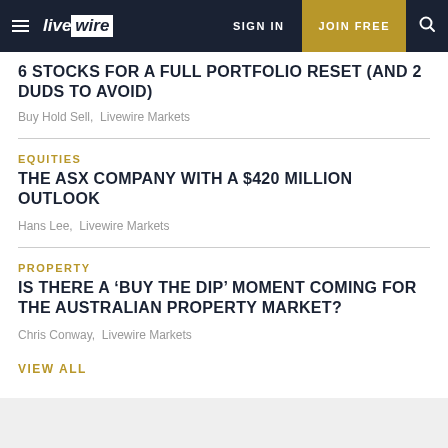livewire | SIGN IN | JOIN FREE
6 STOCKS FOR A FULL PORTFOLIO RESET (AND 2 DUDS TO AVOID)
Buy Hold Sell, Livewire Markets
EQUITIES
THE ASX COMPANY WITH A $420 MILLION OUTLOOK
Hans Lee, Livewire Markets
PROPERTY
IS THERE A ‘BUY THE DIP’ MOMENT COMING FOR THE AUSTRALIAN PROPERTY MARKET?
Chris Conway, Livewire Markets
VIEW ALL